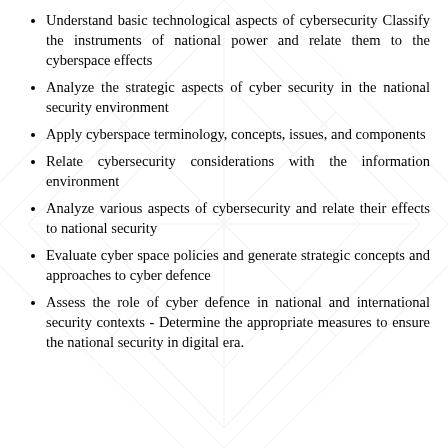Understand basic technological aspects of cybersecurity Classify the instruments of national power and relate them to the cyberspace effects
Analyze the strategic aspects of cyber security in the national security environment
Apply cyberspace terminology, concepts, issues, and components
Relate cybersecurity considerations with the information environment
Analyze various aspects of cybersecurity and relate their effects to national security
Evaluate cyber space policies and generate strategic concepts and approaches to cyber defence
Assess the role of cyber defence in national and international security contexts - Determine the appropriate measures to ensure the national security in digital era.